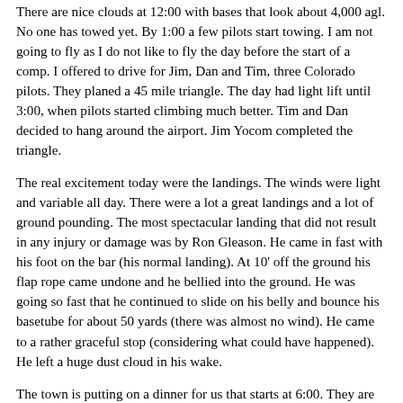There are nice clouds at 12:00 with bases that look about 4,000 agl.  No one has towed yet.  By 1:00 a few pilots start towing.  I am not going to fly as I do not like to fly the day before the start of a comp.  I offered to drive for Jim, Dan and Tim, three Colorado pilots.  They planed a 45 mile triangle.   The day had light lift until 3:00, when pilots started climbing much better.  Tim and Dan decided to hang around the airport.  Jim Yocom completed the triangle.
The real excitement today were the landings.  The winds were light and variable all day.  There were a lot a great landings and a lot of ground pounding.  The most spectacular landing that did not result in any injury or damage was by Ron Gleason.  He came in fast with his foot on the bar (his normal landing).  At 10' off the ground his flap rope came undone and he bellied into the ground.  He was going so fast that he continued to slide on his belly and bounce his basetube for about 50 yards (there was almost no wind).  He came to a rather graceful stop (considering what could have happened).  He left a huge dust cloud in his wake.
The town is putting on a dinner for us that starts at 6:00.  They are barbequing right now and it smells great.  I am going to post this and go eat.
Vince